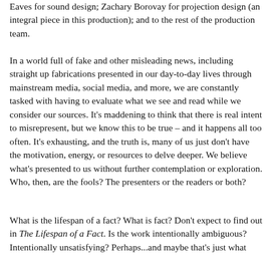Eaves for sound design; Zachary Borovay for projection design (an integral piece in this production); and to the rest of the production team.
In a world full of fake and other misleading news, including straight up fabrications presented in our day-to-day lives through mainstream media, social media, and more, we are constantly tasked with having to evaluate what we see and read while we consider our sources. It's maddening to think that there is real intent to misrepresent, but we know this to be true – and it happens all too often. It's exhausting, and the truth is, many of us just don't have the motivation, energy, or resources to delve deeper. We believe what's presented to us without further contemplation or exploration. Who, then, are the fools? The presenters or the readers or both?
What is the lifespan of a fact? What is fact? Don't expect to find out in The Lifespan of a Fact. Is the work intentionally ambiguous? Intentionally unsatisfying? Perhaps...and maybe that's just what